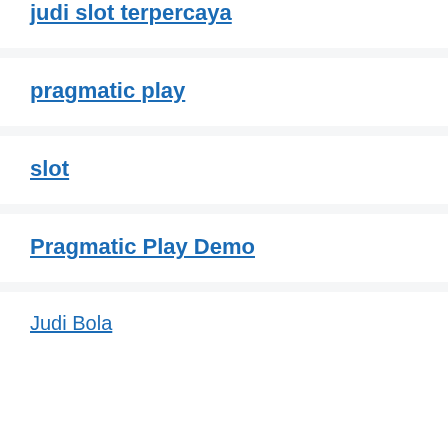judi slot terpercaya
pragmatic play
slot
Pragmatic Play Demo
Judi Bola